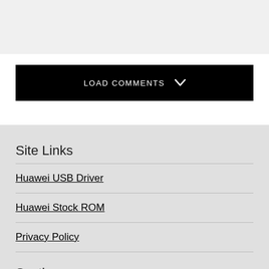[Figure (other): Black button with white uppercase text 'LOAD COMMENTS' and a downward chevron icon]
Site Links
Huawei USB Driver
Huawei Stock ROM
Privacy Policy
Section